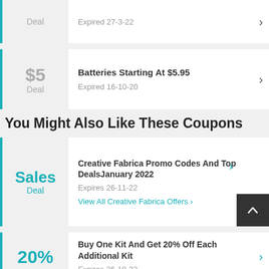Deal | Expired 27-3-22
$5 Deal | Batteries Starting At $5.95 | Expired 16-10-20
You Might Also Like These Coupons
Sales Deal | Creative Fabrica Promo Codes And Top Deals January 2022 | Expires 26-11-22 | View All Creative Fabrica Offers
20% | Buy One Kit And Get 20% Off Each Additional Kit | Expires 26-10-22